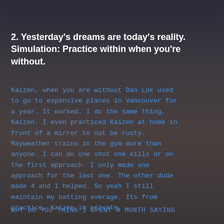2. Yesterday's dreams are today's reality. Simulation: Practice within when you're without.
Kaizen, when you are without Dan Lok used to go to expensive places in Vancouver for a year. It worked. I do the same thing, Kaizen. I even practiced Kaizen at home in front of a mirror to not be rusty. Mayweather trains in the gym more than anyone. I can do one shot one kills or on the first approach. I only made one approach for the last one. The other dude made 4 and I helped. So yeah I still maintain my batting average. Its from practice, Kaizen in private.
WHY DO YOU THINK I SPENT A MONTH SAYING